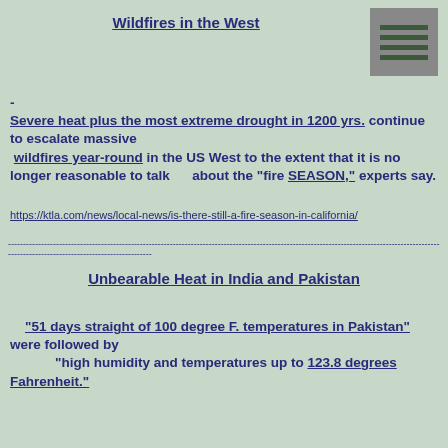Wildfires in the West
[Figure (other): Gray square icon with horizontal dark green lines, resembling a menu or document icon]
- Severe heat plus the most extreme drought in 1200 yrs. continue to escalate massive wildfires year-round in the US West to the extent that it is no longer reasonable to talk about the "fire SEASON," experts say.
https://ktla.com/news/local-news/is-there-still-a-fire-season-in-california/
------------------------------------------------------------------------------------------------------------------------------------------------------------------------------
Unbearable Heat in India and Pakistan
"51 days straight of 100 degree F. temperatures in Pakistan" were followed by "high humidity and temperatures up to 123.8 degrees Fahrenheit."